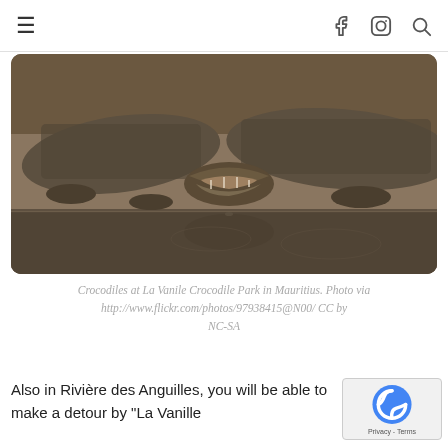≡   f  Instagram  Search
[Figure (photo): Two crocodiles resting on rocky ground near muddy water, one with mouth open, with their reflection visible in the water below. Taken at La Vanile Crocodile Park in Mauritius.]
Crocodiles at La Vanile Crocodile Park in Mauritius. Photo via http://www.flickr.com/photos/97938415@N00/ CC by NC-SA
Also in Rivière des Anguilles, you will be able to make a detour by "La Vanille Reserve des Mascareignes"...